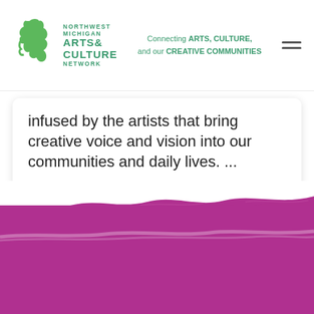Northwest Michigan Arts & Culture Network — Connecting ARTS, CULTURE, and our CREATIVE COMMUNITIES
infused by the artists that bring creative voice and vision into our communities and daily lives. ...
Read More
[Figure (illustration): Purple paintbrush stroke texture filling the bottom portion of the page]